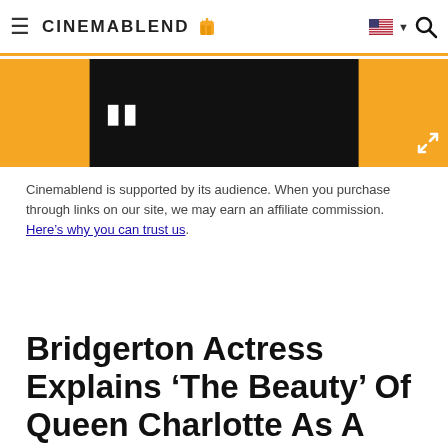CINEMABLEND
[Figure (screenshot): Video player embedded in page with pause button and expand icon, on orange/yellow background]
Cinemablend is supported by its audience. When you purchase through links on our site, we may earn an affiliate commission. Here’s why you can trust us.
Bridgerton Actress Explains 'The Beauty' Of Queen Charlotte As A